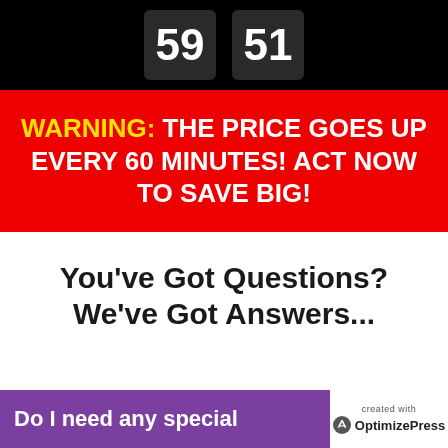[Figure (other): Countdown timer showing two dark flip-clock digit boxes on a black background, partially visible at the top]
WARNING: THE PRICE GOES UP EVERY 60 MINUTES! ACT NOW TO SAVE BIG!
You've Got Questions? We've Got Answers...
Do I need any special...